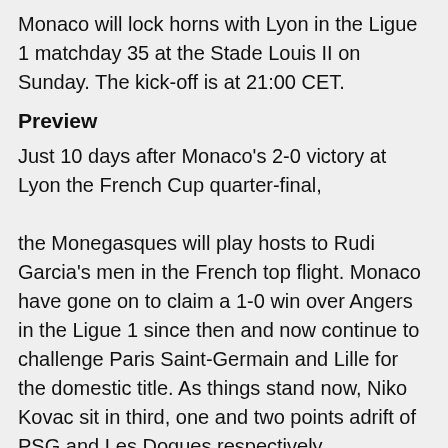Monaco will lock horns with Lyon in the Ligue 1 matchday 35 at the Stade Louis II on Sunday. The kick-off is at 21:00 CET.
Preview
Just 10 days after Monaco's 2-0 victory at Lyon the French Cup quarter-final, the Monegasques will play hosts to Rudi Garcia's men in the French top flight. Monaco have gone on to claim a 1-0 win over Angers in the Ligue 1 since then and now continue to challenge Paris Saint-Germain and Lille for the domestic title. As things stand now, Niko Kovac sit in third, one and two points adrift of PSG and Les Dogues respectively. Les Gones, in contrast, followed their defeat